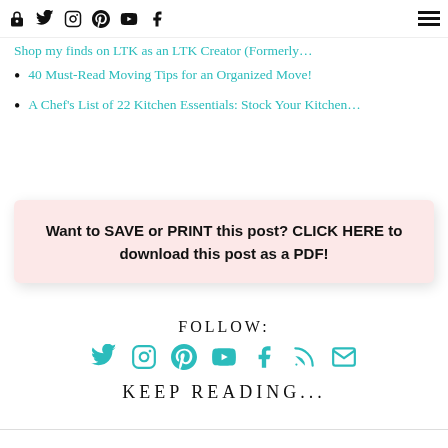Navigation icons and hamburger menu
Shop my finds on LTK as an LTK Creator (Formerly…
40 Must-Read Moving Tips for an Organized Move!
A Chef's List of 22 Kitchen Essentials: Stock Your Kitchen…
Want to SAVE or PRINT this post? CLICK HERE to download this post as a PDF!
FOLLOW:
Social media follow icons: Twitter, Instagram, Pinterest, YouTube, Facebook, RSS, Email
KEEP READING...